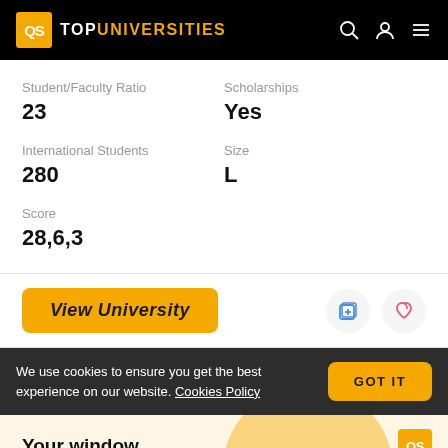QS TOP UNIVERSITIES
Student/Faculty Ratio
23
Scholarships
Yes
International Students
280
Size
L
Score
28,6,3
View University
We use cookies to ensure you get the best experience on our website. Cookies Policy
GOT IT
Your window
to online learning